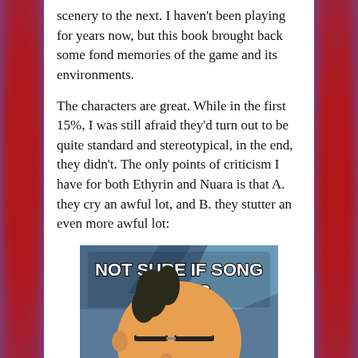scenery to the next. I haven't been playing for years now, but this book brought back some fond memories of the game and its environments.
The characters are great. While in the first 15%, I was still afraid they'd turn out to be quite standard and stereotypical, in the end, they didn't. The only points of criticism I have for both Ethyrin and Nuara is that A. they cry an awful lot, and B. they stutter an even more awful lot:
[Figure (illustration): Futurama Fry 'Not Sure If' meme image with text 'NOT SURE IF SONG LYRICS' at the top]